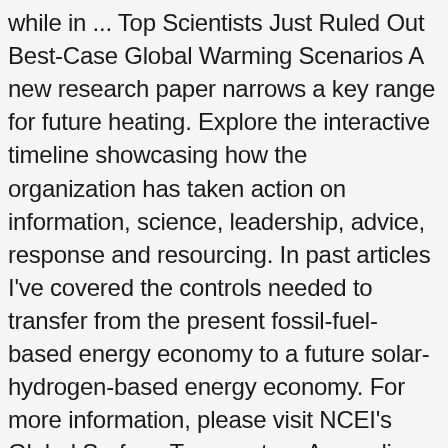while in ... Top Scientists Just Ruled Out Best-Case Global Warming Scenarios A new research paper narrows a key range for future heating. Explore the interactive timeline showcasing how the organization has taken action on information, science, leadership, advice, response and resourcing. In past articles I've covered the controls needed to transfer from the present fossil-fuel-based energy economy to a future solar-hydrogen-based energy economy. For more information, please visit NCEI's Global Surface Temperature Anomalies page. Saturday, Nov 28th 2020 10PM 50°F 1AM 48°F 5-Day Forecast. Thin Ice: Global Warming May Be ... We often call the result global warming, but it is causing a set of changes to the Earth's climate, or long-term weather patterns, that varies from place to place. As the maps show, global warming doesn't mean temperatures rose everywhere at every time by one degree. It is directly linked to the increase of greenhouse gases in our atmosphere, worsening the greenhouse effect. Policymakers are hopeful that a Biden administration will encourage congressional action. Massive, swift federal investment needed to